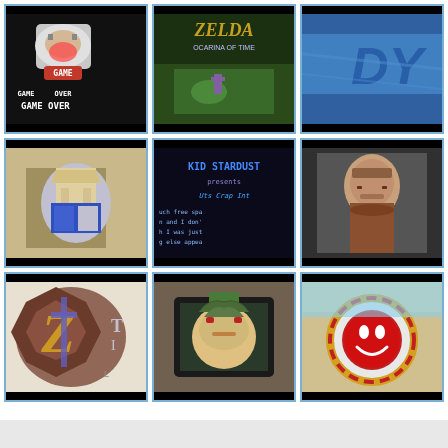[Figure (screenshot): Video game screenshot showing 'GAME OVER' text on black background with a character holding a watermelon slice]
[Figure (screenshot): The Legend of Zelda: Ocarina of Time game screenshot with logo and gameplay scene]
[Figure (screenshot): Blue background with partial text letters 'DY' visible]
[Figure (screenshot): 3D character in armored suit, video game screenshot with yellow and blue armor]
[Figure (screenshot): KID STARDUST presents title screen with scrolling text mentioning free space]
[Figure (photo): Photo of a man with beard and short hair in brownish jacket looking to the side]
[Figure (screenshot): Dark fantasy game logo with letter Z and monster/demon imagery]
[Figure (screenshot): Anime-style character with blue hair and red eyes looking forward in a dark frame]
[Figure (photo): Red circular smiley face logo with yellow and red striped border, carnival/festival setting]